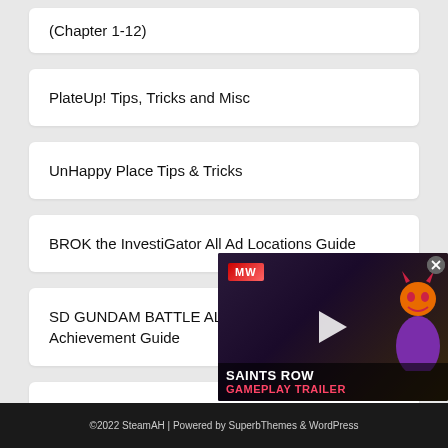(Chapter 1-12)
PlateUp! Tips, Tricks and Misc
UnHappy Place Tips & Tricks
BROK the InvestiGator All Ad Locations Guide
SD GUNDAM BATTLE ALLIANCE 100% Achievement Guide
[Figure (screenshot): Video overlay showing Saints Row Gameplay Trailer with MW logo, play button, and character in purple outfit]
©2022 SteamAH | Powered by SuperbThemes & WordPress